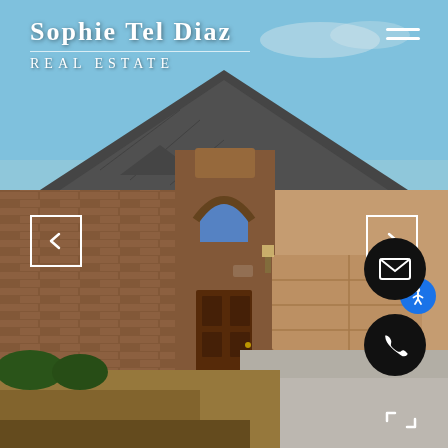[Figure (photo): Exterior photo of a single-story brick and stucco house with arched front door, two-car garage, and dormant brown lawn. Clear blue sky in background.]
Sophie Tel Diaz
Real Estate